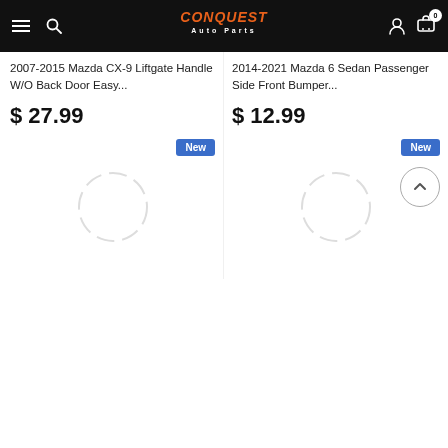Conquest Auto Parts — navigation header with hamburger menu, search, logo, user account and cart (0 items)
2007-2015 Mazda CX-9 Liftgate Handle W/O Back Door Easy...
$ 27.99
2014-2021 Mazda 6 Sedan Passenger Side Front Bumper...
$ 12.99
[Figure (other): Loading spinner circle for product image (left column)]
[Figure (other): Loading spinner circle for product image (right column)]